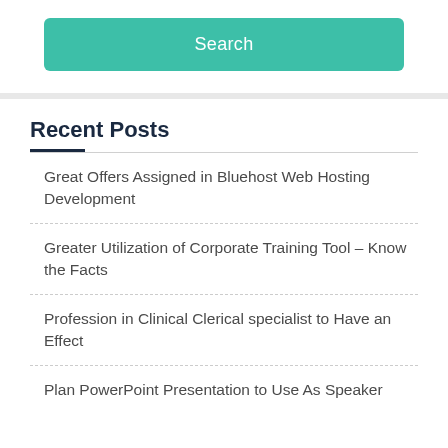Search
Recent Posts
Great Offers Assigned in Bluehost Web Hosting Development
Greater Utilization of Corporate Training Tool – Know the Facts
Profession in Clinical Clerical specialist to Have an Effect
Plan PowerPoint Presentation to Use As Speaker